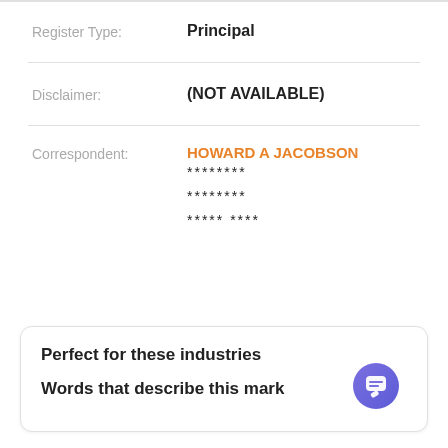Register Type: Principal
Disclaimer: (NOT AVAILABLE)
Correspondent: HOWARD A JACOBSON
********
********
***** ****
Perfect for these industries
Words that describe this mark